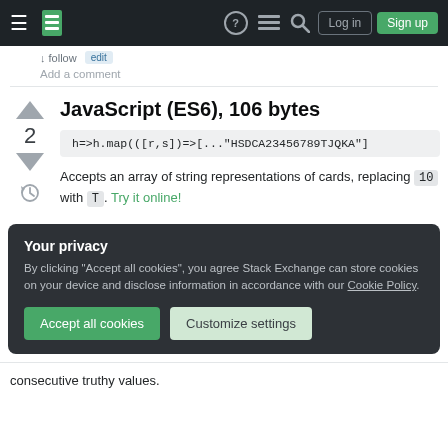Stack Exchange navigation bar with hamburger menu, logo, help, chat, search, Log in, Sign up
Add a comment
JavaScript (ES6), 106 bytes
h=>h.map(([r,s])=>[..."HSDCA23456789TJQKA"]
Accepts an array of string representations of cards, replacing 10 with T. Try it online!
Your privacy
By clicking "Accept all cookies", you agree Stack Exchange can store cookies on your device and disclose information in accordance with our Cookie Policy.
Accept all cookies   Customize settings
consecutive truthy values.